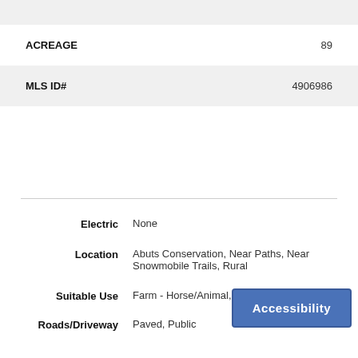| Field | Value |
| --- | --- |
| ACREAGE | 89 |
| MLS ID# | 4906986 |
Electric: None
Location: Abuts Conservation, Near Paths, Near Snowmobile Trails, Rural
Suitable Use: Farm - Horse/Animal, Woodland
Roads/Driveway: Paved, Public
Accessibility